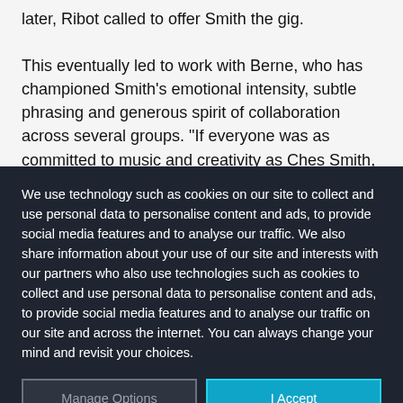later, Ribot called to offer Smith the gig. This eventually led to work with Berne, who has championed Smith's emotional intensity, subtle phrasing and generous spirit of collaboration across several groups. "If everyone was as committed to music and creativity as Ches Smith, there would be no
We use technology such as cookies on our site to collect and use personal data to personalise content and ads, to provide social media features and to analyse our traffic. We also share information about your use of our site and interests with our partners who also use technologies such as cookies to collect and use personal data to personalise content and ads, to provide social media features and to analyse our traffic on our site and across the internet. You can always change your mind and revisit your choices.
Manage Options
I Accept